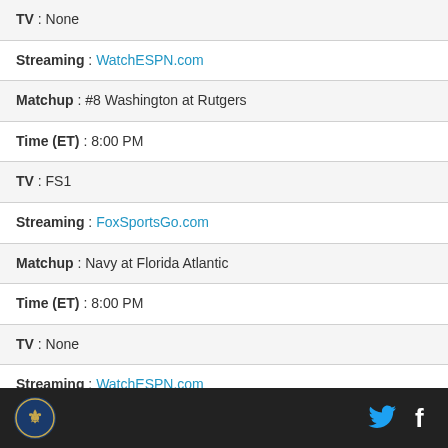| TV : None |
| Streaming : WatchESPN.com |
| Matchup : #8 Washington at Rutgers |
| Time (ET) : 8:00 PM |
| TV : FS1 |
| Streaming : FoxSportsGo.com |
| Matchup : Navy at Florida Atlantic |
| Time (ET) : 8:00 PM |
| TV : None |
| Streaming : WatchESPN.com |
| Matchup : Colorado State vs. Colorado (Denver, CO) |
Footer with logo and social icons